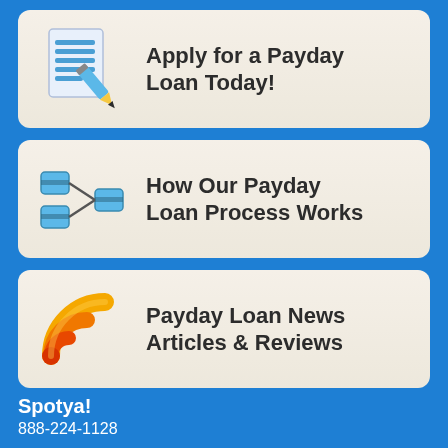[Figure (infographic): Card button with a document and pencil icon, labeled 'Apply for a Payday Loan Today!']
[Figure (infographic): Card button with a process/flow diagram icon, labeled 'How Our Payday Loan Process Works']
[Figure (infographic): Card button with an RSS feed icon in orange/yellow, labeled 'Payday Loan News Articles & Reviews']
Spotya!
888-224-1128